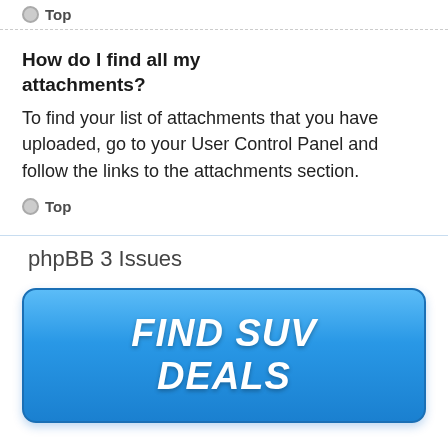Top
How do I find all my attachments?
To find your list of attachments that you have uploaded, go to your User Control Panel and follow the links to the attachments section.
Top
phpBB 3 Issues
[Figure (other): Blue gradient button advertisement reading FIND SUV DEALS in bold white italic text]